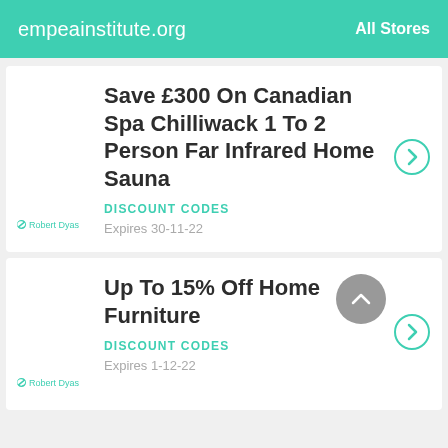empeainstitute.org   All Stores
Save £300 On Canadian Spa Chilliwack 1 To 2 Person Far Infrared Home Sauna
DISCOUNT CODES
Expires 30-11-22
Up To 15% Off Home Furniture
DISCOUNT CODES
Expires 1-12-22